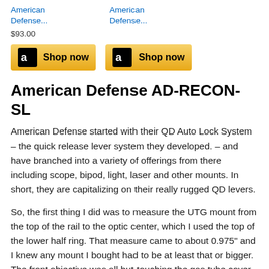American Defense...
American Defense...
$93.00
[Figure (screenshot): Two Amazon 'Shop now' buttons with orange/yellow gradient background and Amazon logo]
American Defense AD-RECON-SL
American Defense started with their QD Auto Lock System – the quick release lever system they developed. – and have branched into a variety of offerings from there including scope, bipod, light, laser and other mounts. In short, they are capitalizing on their really rugged QD levers.
So, the first thing I did was to measure the UTG mount from the top of the rail to the optic center, which I used the top of the lower half ring. That measure came to about 0.975" and I knew any mount I bought had to be at least that or bigger. The front objective was all but touching the gas tube cover with those UTG low rings.